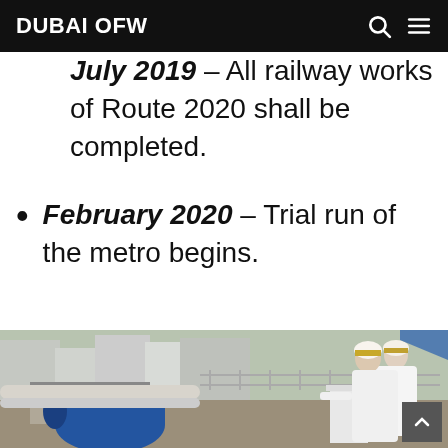DUBAI OFW
July 2019 – All railway works of Route 2020 shall be completed.
February 2020 – Trial run of the metro begins.
[Figure (photo): Two men in traditional white UAE kandura attire standing at a construction site overlooking large pipes and infrastructure works, with buildings in background. A blue cylindrical structure is visible in the foreground.]
The Ruler of Dubai oversees the latest update on the